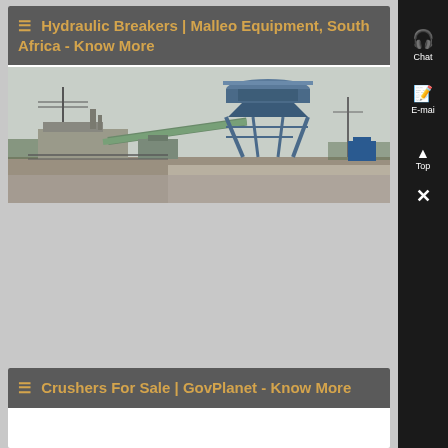≡ Hydraulic Breakers | Malleo Equipment, South Africa - Know More
[Figure (photo): Industrial plant or quarry site with a large blue silo/hopper structure on metal legs, conveyor belt system, and various industrial buildings. Power lines and flat terrain visible in background.]
≡ Crushers For Sale | GovPlanet - Know More